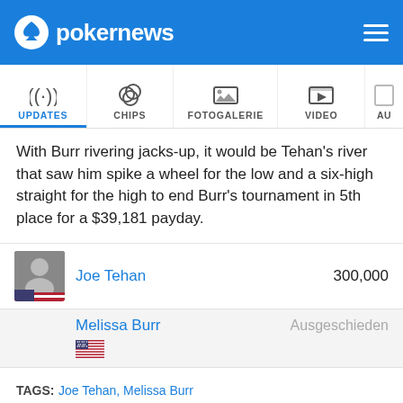pokernews
[Figure (screenshot): Navigation tabs: UPDATES (active, with signal icon), CHIPS (poker chips icon), FOTOGALERIE (photo icon), VIDEO (play button icon), AU... (partially visible)]
With Burr rivering jacks-up, it would be Tehan's river that saw him spike a wheel for the low and a six-high straight for the high to end Burr's tournament in 5th place for a $39,181 payday.
| Player | Chips |
| --- | --- |
| Joe Tehan | 300,000 |
| Melissa Burr | Ausgeschieden |
TAGS: Joe Tehan, Melissa Burr